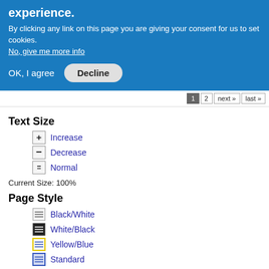experience.
By clicking any link on this page you are giving your consent for us to set cookies. No, give me more info
OK, I agree   Decline
1  2  next »  last »
Text Size
Increase
Decrease
Normal
Current Size: 100%
Page Style
Black/White
White/Black
Yellow/Blue
Standard
Current Style: Standard